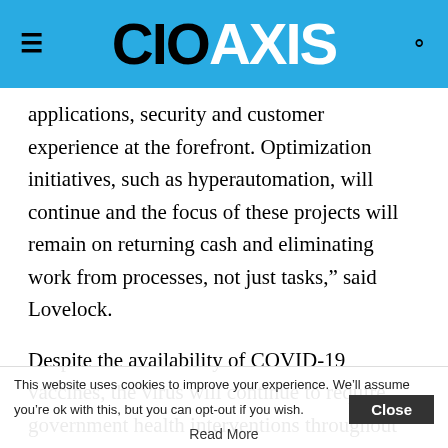CIO AXIS
applications, security and customer experience at the forefront. Optimization initiatives, such as hyperautomation, will continue and the focus of these projects will remain on returning cash and eliminating work from processes, not just tasks,” said Lovelock.
Despite the availability of COVID-19 vaccines, the virus will continue to require government health interventions throughout 2021. Non-COVID-19 geopolitical factors such as Brexit and the U.S.-China tension will also inhibit recovery for some
This website uses cookies to improve your experience. We’ll assume you’re ok with this, but you can opt-out if you wish.
Read More